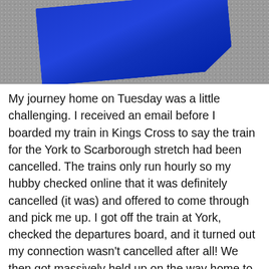[Figure (photo): Photo showing a blue item (possibly a book or folder) resting on a grey textured carpet surface, viewed from above. Only the bottom portion of the blue item is visible.]
My journey home on Tuesday was a little challenging. I received an email before I boarded my train in Kings Cross to say the train for the York to Scarborough stretch had been cancelled. The trains only run hourly so my hubby checked online that it was definitely cancelled (it was) and offered to come through and pick me up. I got off the train at York, checked the departures board, and it turned out my connection wasn't cancelled after all! We then got massively held up on the way home to detour round an accident on the A64 which had closed the road so I didn't get home much before I would have done if I'd stayed at York and waited for the next train (not that I'd have needed to wait when my original one ran after all!)